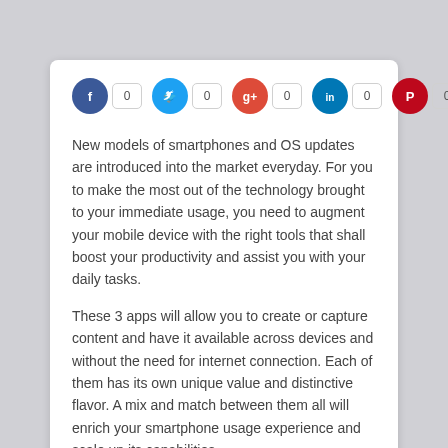[Figure (other): Social sharing bar with Facebook, Twitter, Google+, LinkedIn, Pinterest icons each showing a count of 0]
New models of smartphones and OS updates are introduced into the market everyday. For you to make the most out of the technology brought to your immediate usage, you need to augment your mobile device with the right tools that shall boost your productivity and assist you with your daily tasks.
These 3 apps will allow you to create or capture content and have it available across devices and without the need for internet connection. Each of them has its own unique value and distinctive flavor. A mix and match between them all will enrich your smartphone usage experience and scale up its capabilities.